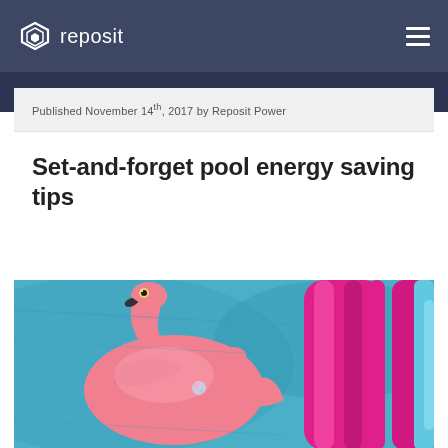reposit
Published November 14th, 2017 by Reposit Power
Set-and-forget pool energy saving tips
[Figure (photo): Inflatable pink flamingo float and magenta pool floatie in a blue swimming pool]